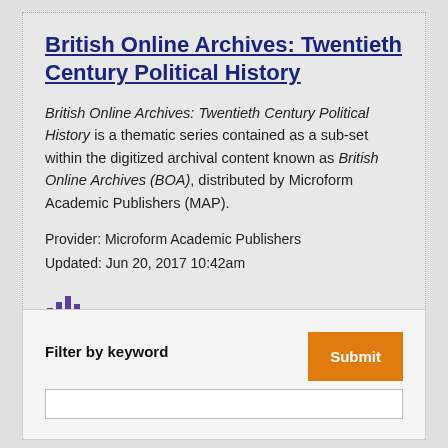British Online Archives: Twentieth Century Political History
British Online Archives: Twentieth Century Political History is a thematic series contained as a sub-set within the digitized archival content known as British Online Archives (BOA), distributed by Microform Academic Publishers (MAP).
Provider: Microform Academic Publishers
Updated: Jun 20, 2017 10:42am
[Figure (other): Bar chart icon (small analytics/chart icon in purple/dark color)]
Filter by keyword
Submit